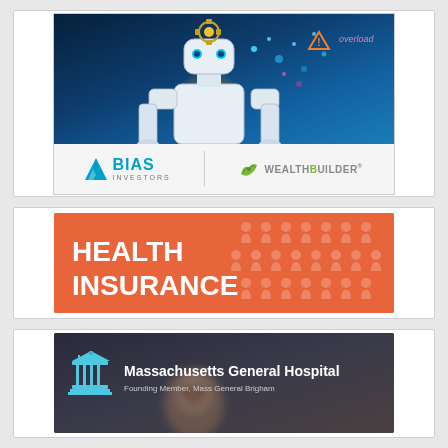[Figure (illustration): Advertisement for BIAS Investors WealthBuilder. Top portion shows a robot/AI figure with glowing elements against a dark blue background with 'overload' text and warning icon. Bottom portion shows BIAS INVESTORS logo and WealthBuilder brand on light grey background.]
[Figure (illustration): Health Insurance advertisement banner with orange/coral background, bold white text reading 'HEALTH INSURANCE', decorative pattern of person icons on the right side.]
[Figure (illustration): Massachusetts General Hospital advertisement. Dark background with hospital building icon, text 'Massachusetts General Hospital' and 'Founding Member, Mass General Brigham'. Bottom portion shows a blurred face/person image.]